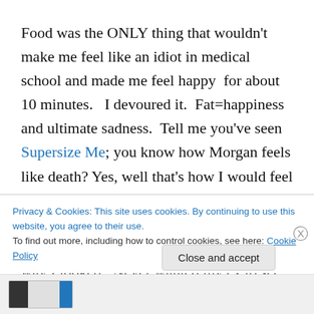Food was the ONLY thing that wouldn't make me feel like an idiot in medical school and made me feel happy  for about 10 minutes.   I devoured it.  Fat=happiness and ultimate sadness.  Tell me you've seen Supersize Me; you know how Morgan feels like death? Yes, well that's how I would feel about an hour after I ate the sugary and fattening poisons – except the feeling never went away… ever.  I grew to despise the way I looked.  Never wanted my ex to see me naked and quite frankly he never wanted to once I gained my weight (because, and I quote from his
Privacy & Cookies: This site uses cookies. By continuing to use this website, you agree to their use.
To find out more, including how to control cookies, see here: Cookie Policy
Close and accept